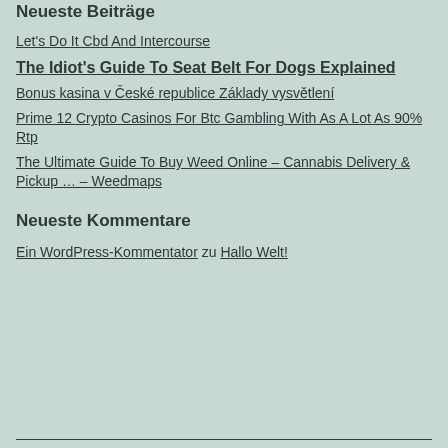Neueste Beiträge
Let's Do It Cbd And Intercourse
The Idiot's Guide To Seat Belt For Dogs Explained
Bonus kasina v České republice Základy vysvětlení
Prime 12 Crypto Casinos For Btc Gambling With As A Lot As 90% Rtp
The Ultimate Guide To Buy Weed Online – Cannabis Delivery & Pickup … – Weedmaps
Neueste Kommentare
Ein WordPress-Kommentator zu Hallo Welt!